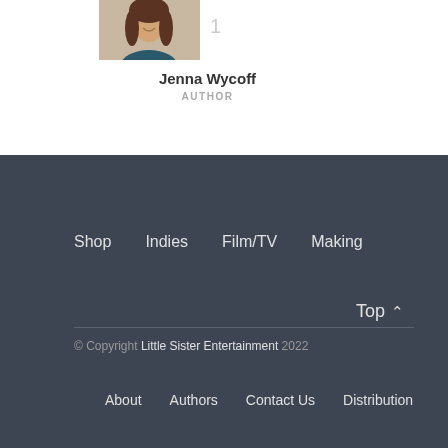[Figure (photo): Portrait photo of Jenna Wycoff, a woman with dark hair, smiling, wearing a dark blue top, outdoors with greenery in background]
1
Jenna Wycoff
AUTHOR
Shop
Indies
Film/TV
Making
Top ^
© Copyright Little Sister Entertainment 2022
About
Authors
Contact Us
Distribution